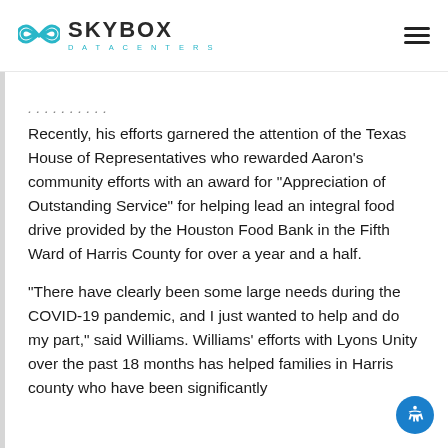SKYBOX DATACENTERS
Recently, his efforts garnered the attention of the Texas House of Representatives who rewarded Aaron's community efforts with an award for “Appreciation of Outstanding Service” for helping lead an integral food drive provided by the Houston Food Bank in the Fifth Ward of Harris County for over a year and a half.
“There have clearly been some large needs during the COVID-19 pandemic, and I just wanted to help and do my part,” said Williams. Williams’ efforts with Lyons Unity over the past 18 months has helped families in Harris county who have been significantly…